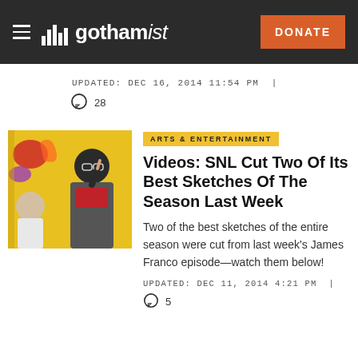gothamist — DONATE
UPDATED: DEC 16, 2014 11:54 PM | 28
ARTS & ENTERTAINMENT
Videos: SNL Cut Two Of Its Best Sketches Of The Season Last Week
Two of the best sketches of the entire season were cut from last week's James Franco episode—watch them below!
UPDATED: DEC 11, 2014 4:21 PM | 5